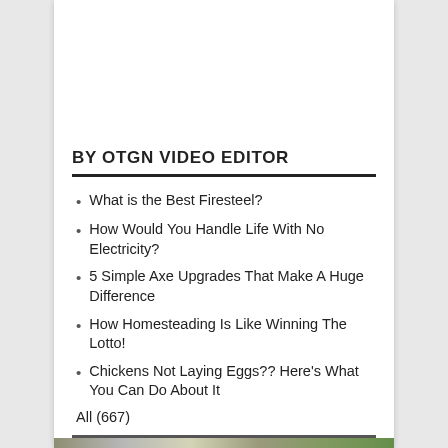BY OTGN VIDEO EDITOR
What is the Best Firesteel?
How Would You Handle Life With No Electricity?
5 Simple Axe Upgrades That Make A Huge Difference
How Homesteading Is Like Winning The Lotto!
Chickens Not Laying Eggs?? Here's What You Can Do About It
All (667)
[Figure (photo): Bottom image strip partially visible at bottom of page]